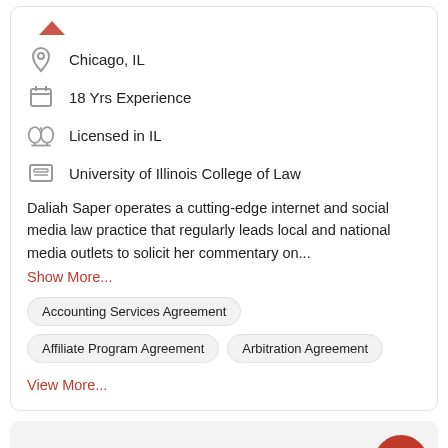Chicago, IL
18 Yrs Experience
Licensed in IL
University of Illinois College of Law
Daliah Saper operates a cutting-edge internet and social media law practice that regularly leads local and national media outlets to solicit her commentary on...
Show More...
Accounting Services Agreement
Affiliate Program Agreement
Arbitration Agreement
View More...
Find the best lawyer for your proj